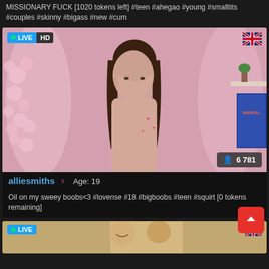MISSIONARY FUCK [1020 tokens left] #teen #ahegao #young #smalltits #couples #skinny #bigass #new #cum
[Figure (screenshot): Live stream thumbnail showing a young woman in a pink room with decorative cherry blossoms, wearing nothing on top, with LIVE and HD badges in top left, UK flag in top right, and viewer count of 6 781 in bottom right]
alliesmiths ♀ Age: 19
Oil on my sweey boobs<3 #lovense #18 #bigboobs #teen #squirt [0 tokens remaining]
[Figure (screenshot): Live stream thumbnail showing two people, with LIVE badge and UK flag]